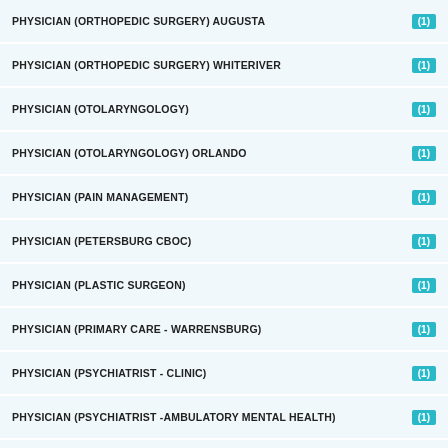PHYSICIAN (ORTHOPEDIC SURGERY) AUGUSTA (1)
PHYSICIAN (ORTHOPEDIC SURGERY) WHITERIVER (1)
PHYSICIAN (OTOLARYNGOLOGY) (1)
PHYSICIAN (OTOLARYNGOLOGY) ORLANDO (1)
PHYSICIAN (PAIN MANAGEMENT) (1)
PHYSICIAN (PETERSBURG CBOC) (1)
PHYSICIAN (PLASTIC SURGEON) (1)
PHYSICIAN (PRIMARY CARE - WARRENSBURG) (1)
PHYSICIAN (PSYCHIATRIST - CLINIC) (1)
PHYSICIAN (PSYCHIATRIST -AMBULATORY MENTAL HEALTH) (1)
PHYSICIAN (PSYCHIATRIST) - DIAMOND TEAM (1)
PHYSICIAN (PSYCHIATRIST) DENVER (1)
PHYSICIAN (PSYCHIATRIST) GAINESVILLE (1)